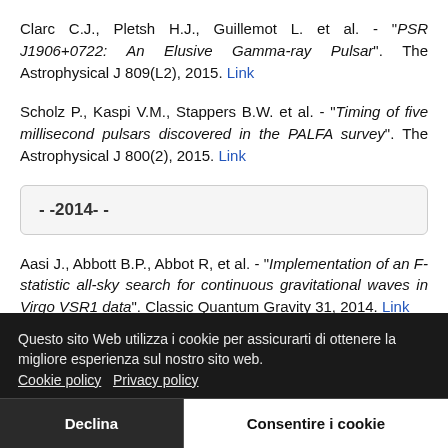Clarc C.J., Pletsh H.J., Guillemot L. et al. - "PSR J1906+0722: An Elusive Gamma-ray Pulsar". The Astrophysical J 809(L2), 2015. Link
Scholz P., Kaspi V.M., Stappers B.W. et al. - "Timing of five millisecond pulsars discovered in the PALFA survey". The Astrophysical J 800(2), 2015. Link
- -2014- -
Aasi J., Abbott B.P., Abbot R, et al. - "Implementation of an F-statistic all-sky search for continuous gravitational waves in Virgo VSR1 data". Classic Quantum Gravity 31, 2014. Link
Pletsch H.J, Clark C.J. - "Optimized blind gamma-ray ...
Questo sito Web utilizza i cookie per assicurarti di ottenere la migliore esperienza sul nostro sito web. Cookie policy  Privacy policy